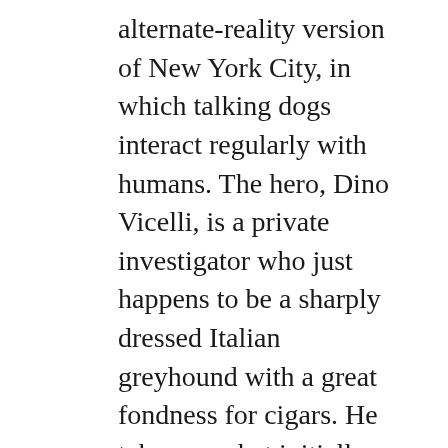alternate-reality version of New York City, in which talking dogs interact regularly with humans. The hero, Dino Vicelli, is a private investigator who just happens to be a sharply dressed Italian greyhound with a great fondness for cigars. He takes on what initially appears to be a routine missing person case but soon finds himself in the midst of a sinister plot that involves kidnapping, murder, and bizarre scientific experiments aimed at controlling the world. As he investigates this strange case, Dino repeatedly encounters mortal danger, while also finding romance with a beautiful blonde Afghan dog.
With its unusual twists on the traditional detective story genre, this book blends